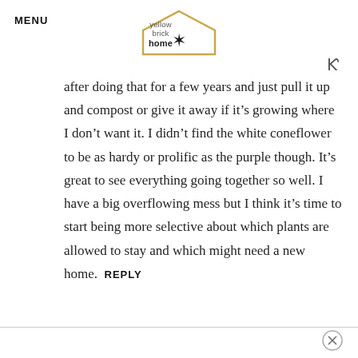MENU | yellow brick home
after doing that for a few years and just pull it up and compost or give it away if it's growing where I don't want it. I didn't find the white coneflower to be as hardy or prolific as the purple though. It's great to see everything going together so well. I have a big overflowing mess but I think it's time to start being more selective about which plants are allowed to stay and which might need a new home. REPLY